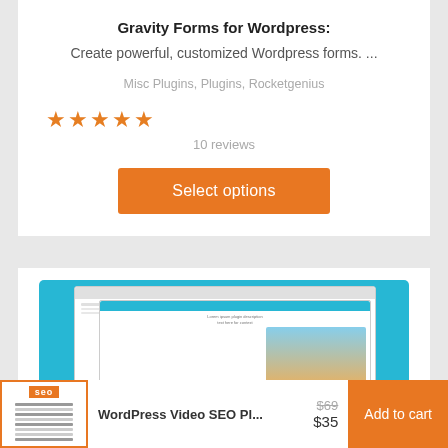Gravity Forms for Wordpress:
Create powerful, customized Wordpress forms. ...
Misc Plugins, Plugins, Rocketgenius
★★★★★
10 reviews
Select options
[Figure (screenshot): WPspring banner image showing a teal background with stacked browser/plugin screens and the WPspring logo at the bottom]
[Figure (photo): SEO plugin thumbnail with orange border and 'seo' label]
WordPress Video SEO Pl...
$69
$35
Add to cart